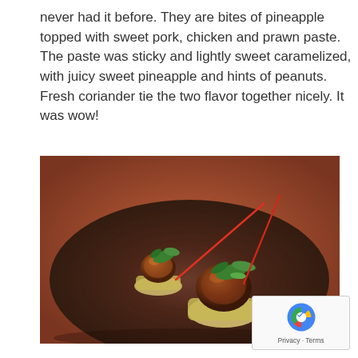never had it before. They are bites of pineapple topped with sweet pork, chicken and prawn paste. The paste was sticky and lightly sweet caramelized, with juicy sweet pineapple and hints of peanuts. Fresh coriander tie the two flavor together nicely. It was wow!
[Figure (photo): Close-up photo of two pineapple bites topped with sweet pork, chicken and prawn paste, garnished with fresh coriander and red chili strips, served on a dark wooden plate.]